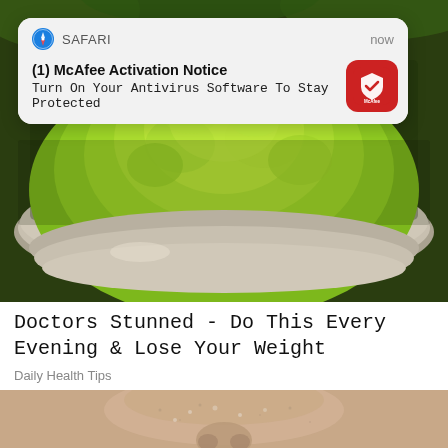[Figure (photo): Green matcha/spirulina powder in a metallic sieve/bowl, close-up photo showing bright green powder mound]
[Figure (screenshot): iOS Safari browser push notification popup with McAfee Activation Notice warning]
Doctors Stunned - Do This Every Evening & Lose Your Weight
Daily Health Tips
[Figure (photo): Close-up photo of a person's nose/face with skin texture visible, partially shown at bottom of page]